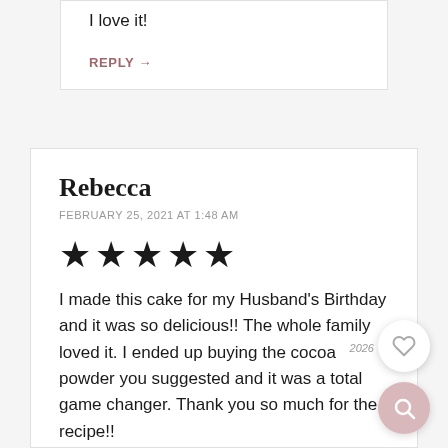I love it!
REPLY →
Rebecca
FEBRUARY 25, 2021 AT 1:48 AM
[Figure (other): Five filled black star rating icons]
I made this cake for my Husband's Birthday and it was so delicious!! The whole family loved it. I ended up buying the cocoa powder you suggested and it was a total game changer. Thank you so much for the recipe!!
REPLY →